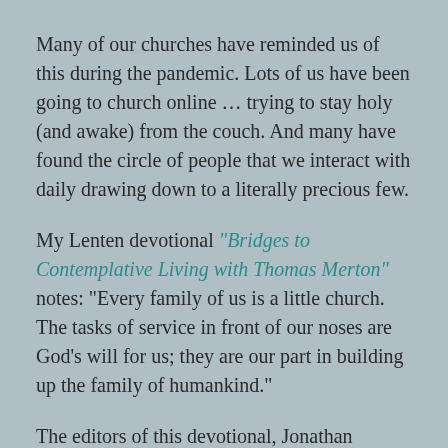Many of our churches have reminded us of this during the pandemic. Lots of us have been going to church online … trying to stay holy (and awake) from the couch. And many have found the circle of people that we interact with daily drawing down to a literally precious few.
My Lenten devotional “Bridges to Contemplative Living with Thomas Merton” notes: “Every family of us is a little church. The tasks of service in front of our noses are God’s will for us; they are our part in building up the family of humankind.”
The editors of this devotional, Jonathan Montaldo and Robert G. Toth, got me thinking with these ideas. They wrote: “Christ is most intimate to us when we recognize Christ in those